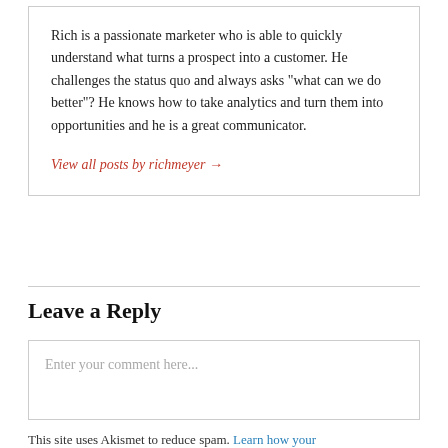Rich is a passionate marketer who is able to quickly understand what turns a prospect into a customer. He challenges the status quo and always asks "what can we do better"? He knows how to take analytics and turn them into opportunities and he is a great communicator.
View all posts by richmeyer →
Leave a Reply
Enter your comment here...
This site uses Akismet to reduce spam. Learn how your